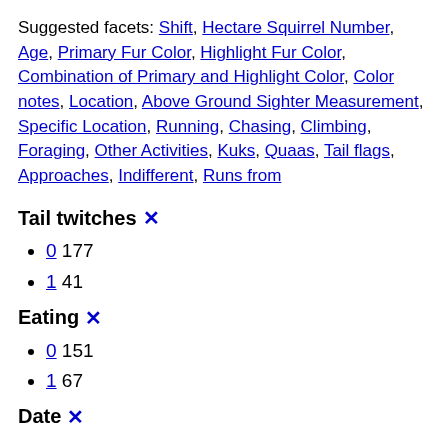Suggested facets: Shift, Hectare Squirrel Number, Age, Primary Fur Color, Highlight Fur Color, Combination of Primary and Highlight Color, Color notes, Location, Above Ground Sighter Measurement, Specific Location, Running, Chasing, Climbing, Foraging, Other Activities, Kuks, Quaas, Tail flags, Approaches, Indifferent, Runs from
Tail twitches ✕
0 177
1 41
Eating ✕
0 151
1 67
Date ✕